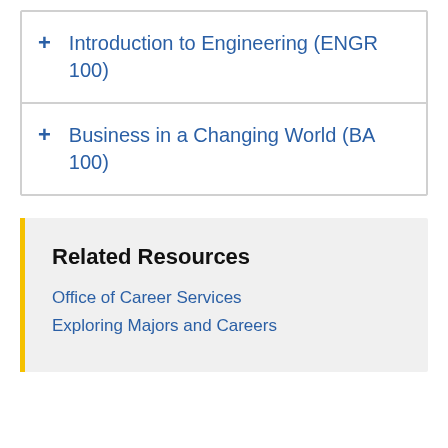Introduction to Engineering (ENGR 100)
Business in a Changing World (BA 100)
Related Resources
Office of Career Services
Exploring Majors and Careers